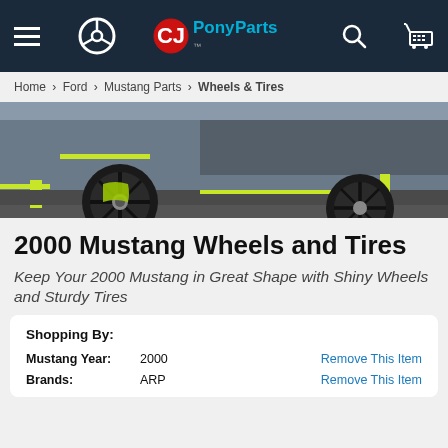CJ Pony Parts navigation bar with hamburger menu, steering wheel icon, CJ Pony Parts logo, search icon, cart icon
Home > Ford > Mustang Parts > Wheels & Tires
[Figure (photo): Close-up photo of a gray Ford Mustang with black multi-spoke wheels and neon yellow-green accent highlights on the front bumper and splitter, parked on pavement.]
2000 Mustang Wheels and Tires
Keep Your 2000 Mustang in Great Shape with Shiny Wheels and Sturdy Tires
Shopping By:
Mustang Year: 2000  Remove This Item
Brands: ARP  Remove This Item